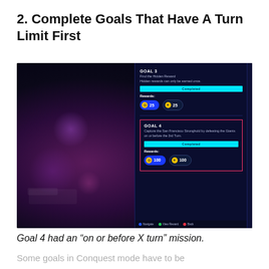2. Complete Goals That Have A Turn Limit First
[Figure (screenshot): Game screenshot showing a dark-themed UI with GOAL 3 and GOAL 4 panels. GOAL 3: Find the Hidden Reward, Hidden rewards can only be earned once. Completed. Rewards: 25 coins, 25 XP. GOAL 4 (highlighted with pink border): Capture the San Francisco Stronghold by defeating the Giants on or before the 3rd Turn. Completed. Rewards: 100 coins, 100 XP. Bottom nav: Navigate, View Reward, Back.]
Goal 4 had an “on or before X turn” mission.
Some goals in Conquest mode have to be